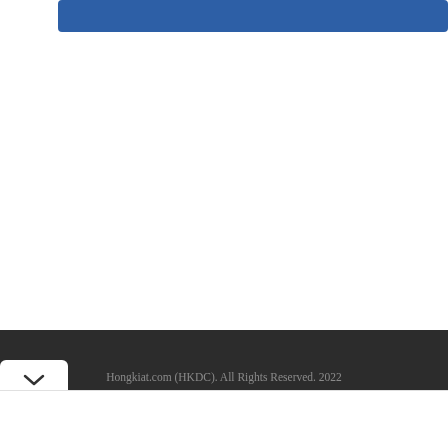[Figure (other): Blue navigation bar at top of page]
Hongkiat.com (HKDC). All Rights Reserved. 2022 Reproduction of materials found on this site, in any form, without explicit permission is prohibited. Publishing policy - Privacy Policy
[Figure (logo): HONGKIAT watermark text logo in dark footer area]
[Figure (screenshot): Advertisement banner: Navigate Shipping Challenges - LJM will take you from contact to contract in a snap. Learn more today. LJM Group. Open button.]